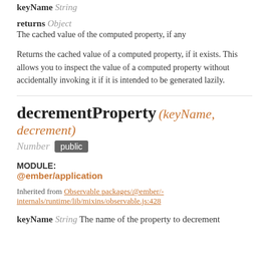keyName String
returns Object
The cached value of the computed property, if any
Returns the cached value of a computed property, if it exists. This allows you to inspect the value of a computed property without accidentally invoking it if it is intended to be generated lazily.
decrementProperty (keyName, decrement) Number public
MODULE: @ember/application
Inherited from Observable packages/@ember/-internals/runtime/lib/mixins/observable.js:428
keyName String The name of the property to decrement